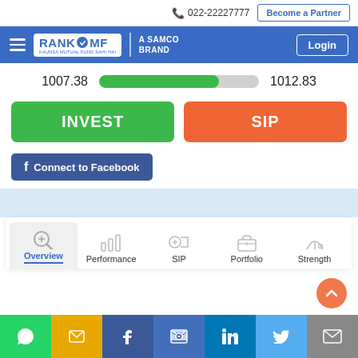022-22227777   Become a Partner
[Figure (logo): RankMF - A Samco Brand logo with hamburger menu and Login button]
1007.38   [progress bar]   1012.83
INVEST
SIP
Connect to Facebook
[Figure (screenshot): Navigation tabs: Overview (active), Performance, SIP, Portfolio, Strength]
WhatsApp | SMS | Facebook | Messenger | LinkedIn | Twitter | Email share buttons